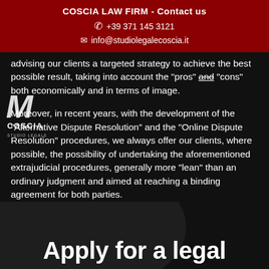COSCIA LAW FIRM - Contact us
☎ +39 371 145 3121
✉ info@studiolegalecoscia.it
advising our clients a targeted strategy to achieve the best possible result, taking into account the "pros" and "cons" both economically and in terms of image.
Moreover, in recent years, with the development of the "Alternative Dispute Resolution" and the "Online Dispute Resolution" procedures, we always offer our clients, where possible, the possibility of undertaking the aforementioned extrajudicial procedures, generally more "lean" than an ordinary judgment and aimed at reaching a binding agreement for both parties.
Apply for a legal